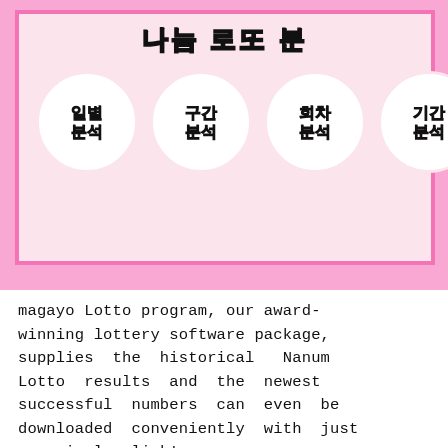[Figure (screenshot): Screenshot of a Korean lottery analysis app (Nanum Lotto) showing a pink interface with circular navigation buttons labeled in Korean: 일별분석, 구간분석, 회차분석, 기간분석, and a partially visible fifth button. The background is pink with a lighter pink bordered content area.]
magayo Lotto program, our award-winning lottery software package, supplies the historical Nanum Lotto results and the newest successful numbers can even be downloaded conveniently with just one simply click!